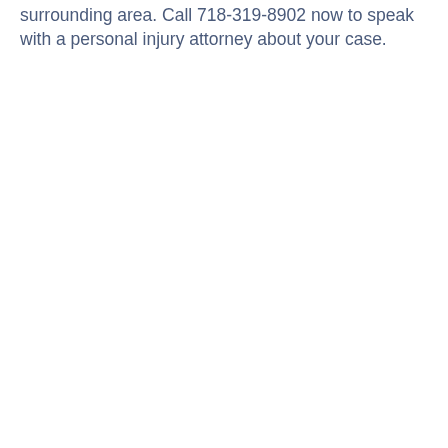surrounding area. Call 718-319-8902 now to speak with a personal injury attorney about your case.